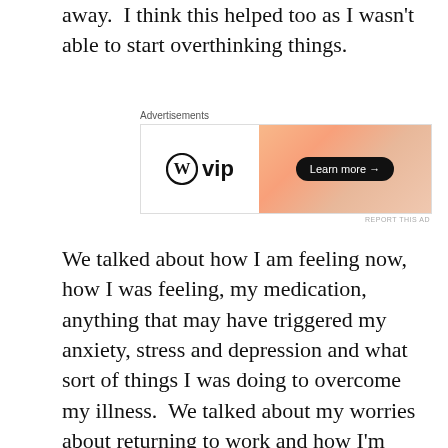away.  I think this helped too as I wasn't able to start overthinking things.
[Figure (other): WordPress VIP advertisement banner with 'Learn more →' button on a gradient orange background]
We talked about how I am feeling now, how I was feeling, my medication, anything that may have triggered my anxiety, stress and depression and what sort of things I was doing to overcome my illness.  We talked about my worries about returning to work and how I'm still not sleeping properly.  The doctor was really lovely, she asked lots of questions and listened to my answers without brushing them off, and she gave me some really useful advice.  She also said that I would be ok to return to work on an